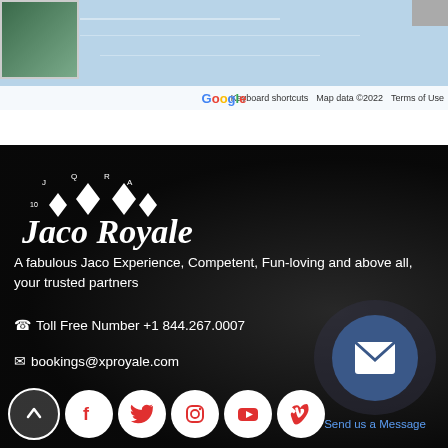[Figure (screenshot): Google Maps partial view with thumbnail satellite image, Google logo, keyboard shortcuts, map data copyright 2022, terms of use bar]
[Figure (logo): Jaco Royale logo with diamond crown design in white on dark background]
A fabulous Jaco Experience, Competent, Fun-loving and above all, your trusted partners
Toll Free Number +1 844.267.0007
bookings@xproyale.com
[Figure (infographic): Social media icons row: up arrow, Facebook, Twitter, Instagram, YouTube, Vimeo in white circles]
[Figure (infographic): Send us a Message button with envelope icon in blue circle with outer ring and teal label text]